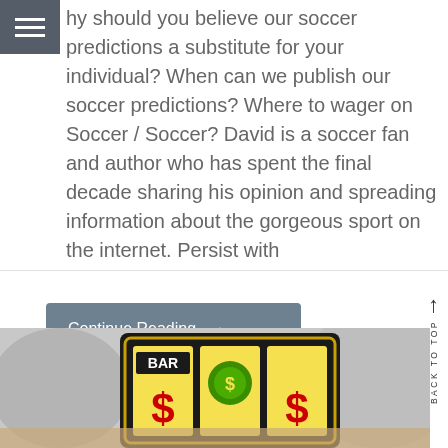hy should you believe our soccer predictions a substitute for your individual? When can we publish our soccer predictions? Where to wager on Soccer / Soccer? David is a soccer fan and author who has spent the final decade sharing his opinion and spreading information about the gorgeous sport on the internet. Persist with
Continue Reading →
[Figure (photo): Slot machine showing BAR and dollar sign symbols on reels, blurred background]
BACK TO TOP ↑